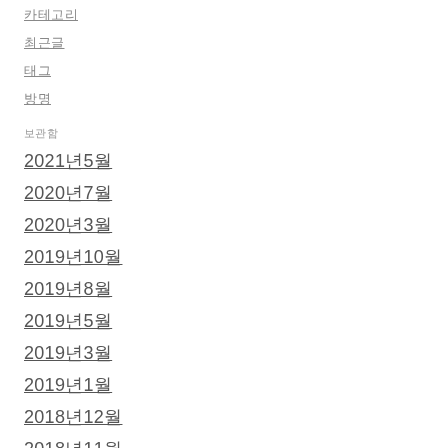카테고리
최근글
태그
방명
보관함
2021년5월
2020년7월
2020년3월
2019년10월
2019년8월
2019년5월
2019년3월
2019년1월
2018년12월
2018년11월
2018년10월